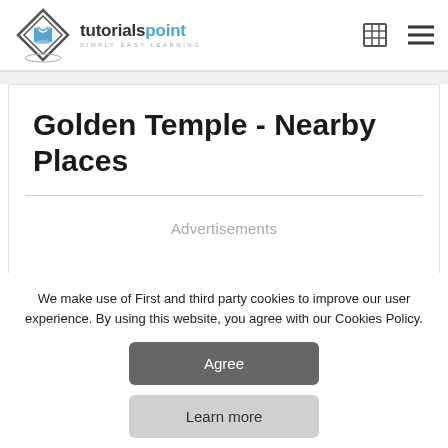tutorialspoint - SIMPLY EASY LEARNING
Golden Temple - Nearby Places
Advertisements
We make use of First and third party cookies to improve our user experience. By using this website, you agree with our Cookies Policy.
Agree
Learn more